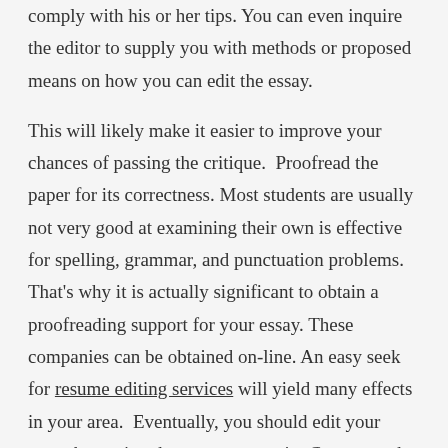comply with his or her tips. You can even inquire the editor to supply you with methods or proposed means on how you can edit the essay.
This will likely make it easier to improve your chances of passing the critique. Proofread the paper for its correctness. Most students are usually not very good at examining their own is effective for spelling, grammar, and punctuation problems. That's why it is actually significant to obtain a proofreading support for your essay. These companies can be obtained on-line. An easy seek for resume editing services will yield many effects in your area. Eventually, you should edit your essay by stating the errors yet again. Convey to the professor exactly what the miscalculation is, and check with him or her to suitable it. You can even give to take care of the mistake individually. This could make it easier to stay clear of overlooking very similar issues and may make it easier to gain self esteem within your editing